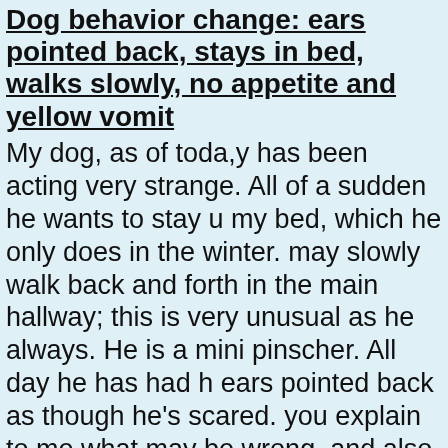Dog behavior change: ears pointed back, stays in bed, walks slowly, no appetite and yellow vomit
My dog, as of toda,y has been acting very strange. All of a sudden he wants to stay u my bed, which he only does in the winter. may slowly walk back and forth in the main hallway; this is very unusual as he always. He is a mini pinscher. All day he has had h ears pointed back as though he's scared. you explain to me what may be wrong, and also doesn't seem interested in eating or drinking, lately every now and then he wou wake up at night and vomit yellow stuff?
Painful dog penis with 2 hard swellings on side
I have a two-year old Alaskan Malamute. H